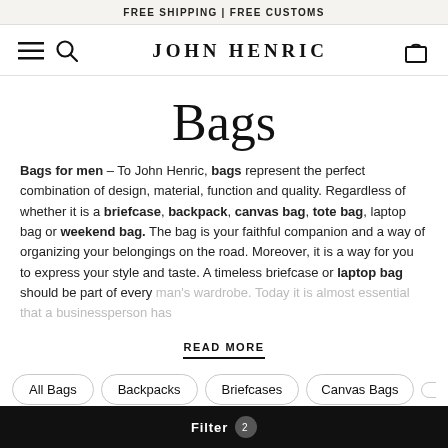FREE SHIPPING | FREE CUSTOMS
JOHN HENRIC
Bags
Bags for men – To John Henric, bags represent the perfect combination of design, material, function and quality. Regardless of whether it is a briefcase, backpack, canvas bag, tote bag, laptop bag or weekend bag. The bag is your faithful companion and a way of organizing your belongings on the road. Moreover, it is a way for you to express your style and taste. A timeless briefcase or laptop bag should be part of every man's wardrobe. Today it is almost essential that a businessperson has...
READ MORE
All Bags
Backpacks
Briefcases
Canvas Bags
Filter